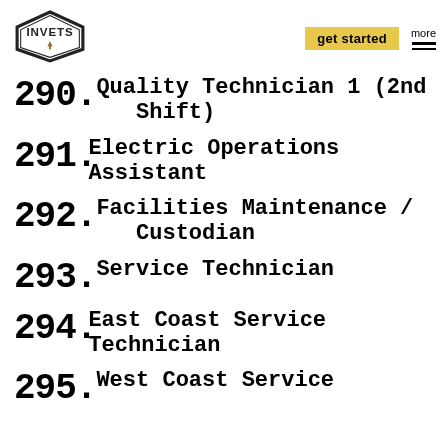INVETS | get started | more
290. Quality Technician 1 (2nd Shift)
291. Electric Operations Assistant
292. Facilities Maintenance / Custodian
293. Service Technician
294. East Coast Service Technician
295. West Coast Service